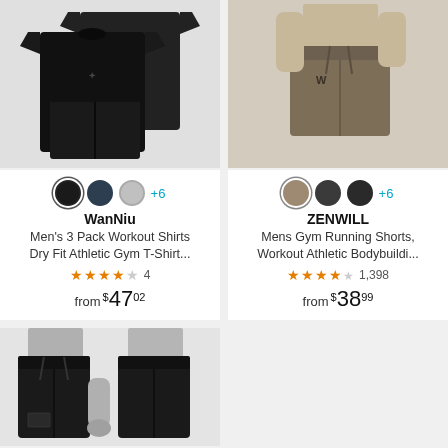[Figure (photo): WanNiu men's black 3-pack workout shirts product photo on light gray background]
[Figure (photo): ZENWILL men's tan/khaki gym running shorts product photo showing waist and legs]
WanNiu
Men's 3 Pack Workout Shirts Dry Fit Athletic Gym T-Shirt...
★★★★☆ 4
from $47.02
ZENWILL
Mens Gym Running Shorts, Workout Athletic Bodybuildi...
★★★★☆ 1,398
from $38.99
[Figure (photo): Black men's gym shorts product photo on light gray background, bottom left card]